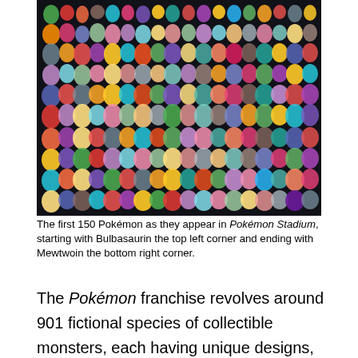[Figure (photo): A collage image showing the first 150 Pokémon as they appear in Pokémon Stadium, arranged in rows on a dark background, starting with Bulbasaur in the top left corner and ending with Mewtwo in the bottom right corner.]
The first 150 Pokémon as they appear in Pokémon Stadium, starting with Bulbasaurin the top left corner and ending with Mewtwoin the bottom right corner.
The Pokémon franchise revolves around 901 fictional species of collectible monsters, each having unique designs, skills, and powers. Conceived by Satoshi Tajiri in early 1989, Pokémon are creatures that inhabit the fictional Pokémon World. The designs for the multitude of species can draw inspiration from anything such